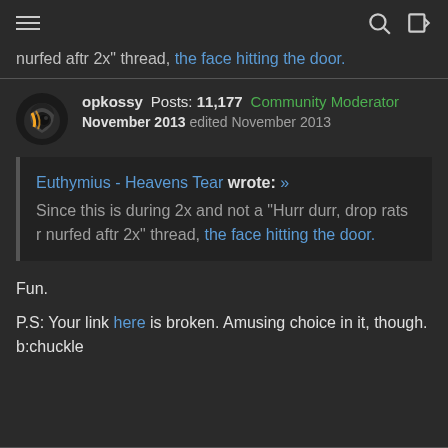navigation header with hamburger menu, search and login icons
nurfed aftr 2x" thread, the face hitting the door.
opkossy  Posts: 11,177  Community Moderator  November 2013  edited November 2013
Euthymius - Heavens Tear wrote: » Since this is during 2x and not a "Hurr durr, drop rats r nurfed aftr 2x" thread, the face hitting the door.
Fun.
P.S: Your link here is broken. Amusing choice in it, though. b:chuckle